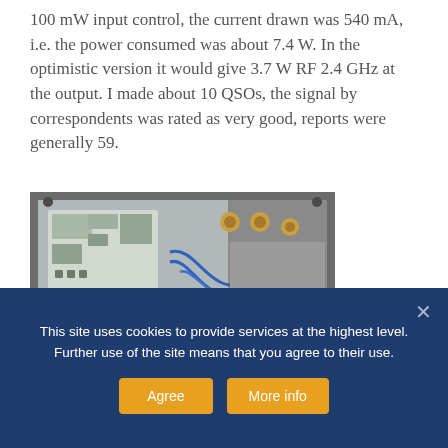100 mW input control, the current drawn was 540 mA, i.e. the power consumed was about 7.4 W. In the optimistic version it would give 3.7 W RF 2.4 GHz at the output. I made about 10 QSOs, the signal by correspondents was rated as very good, reports were generally 59.
[Figure (photo): Interior of a metal enclosure showing a PCB with blue wiring, RF components, and coaxial connectors — likely a 2.4 GHz power amplifier assembly.]
This site uses cookies to provide services at the highest level. Further use of the site means that you agree to their use.